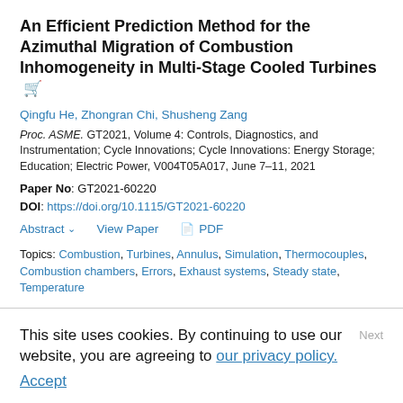An Efficient Prediction Method for the Azimuthal Migration of Combustion Inhomogeneity in Multi-Stage Cooled Turbines
Qingfu He, Zhongran Chi, Shusheng Zang
Proc. ASME. GT2021, Volume 4: Controls, Diagnostics, and Instrumentation; Cycle Innovations; Cycle Innovations: Energy Storage; Education; Electric Power, V004T05A017, June 7–11, 2021
Paper No: GT2021-60220
DOI: https://doi.org/10.1115/GT2021-60220
Abstract  View Paper  PDF
Topics: Combustion, Turbines, Annulus, Simulation, Thermocouples, Combustion chambers, Errors, Exhaust systems, Steady state, Temperature
This site uses cookies. By continuing to use our website, you are agreeing to our privacy policy. Accept